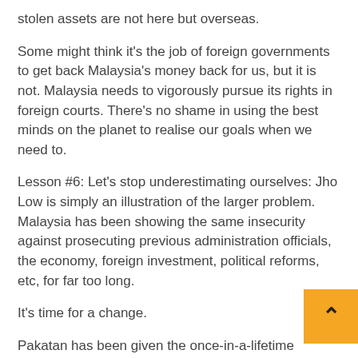stolen assets are not here but overseas.
Some might think it's the job of foreign governments to get back Malaysia's money back for us, but it is not. Malaysia needs to vigorously pursue its rights in foreign courts. There's no shame in using the best minds on the planet to realise our goals when we need to.
Lesson #6: Let's stop underestimating ourselves: Jho Low is simply an illustration of the larger problem. Malaysia has been showing the same insecurity against prosecuting previous administration officials, the economy, foreign investment, political reforms, etc, for far too long.
It's time for a change.
Pakatan has been given the once-in-a-lifetime chance to transform itself from opposition politicians banging the table to grown-ups wearing the pants and getting things done.